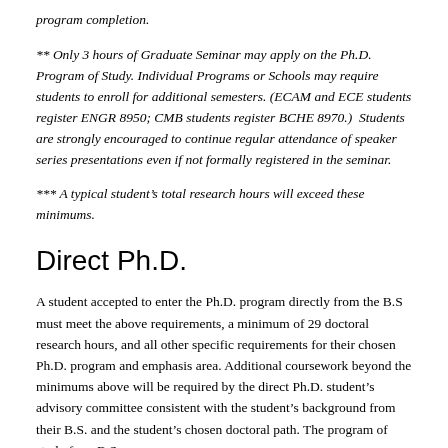program completion.
** Only 3 hours of Graduate Seminar may apply on the Ph.D. Program of Study. Individual Programs or Schools may require students to enroll for additional semesters. (ECAM and ECE students register ENGR 8950; CMB students register BCHE 8970.)  Students are strongly encouraged to continue regular attendance of speaker series presentations even if not formally registered in the seminar.
*** A typical student’s total research hours will exceed these minimums.
Direct Ph.D.
A student accepted to enter the Ph.D. program directly from the B.S must meet the above requirements, a minimum of 29 doctoral research hours, and all other specific requirements for their chosen Ph.D. program and emphasis area. Additional coursework beyond the minimums above will be required by the direct Ph.D. student’s advisory committee consistent with the student’s background from their B.S. and the student’s chosen doctoral path. The program of study for a B.S.